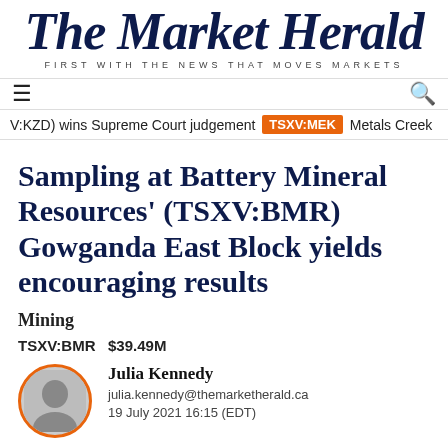The Market Herald — FIRST WITH THE NEWS THAT MOVES MARKETS
V:KZD) wins Supreme Court judgement   TSXV:MEK   Metals Creek
Sampling at Battery Mineral Resources' (TSXV:BMR) Gowganda East Block yields encouraging results
Mining
TSXV:BMR   $39.49M
Julia Kennedy
julia.kennedy@themarketherald.ca
19 July 2021 16:15 (EDT)